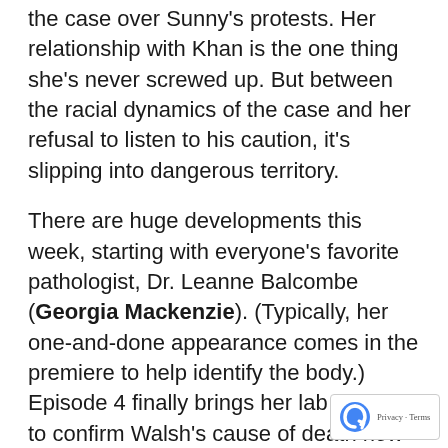the case over Sunny's protests. Her relationship with Khan is the one thing she's never screwed up. But between the racial dynamics of the case and her refusal to listen to his caution, it's slipping into dangerous territory.
There are huge developments this week, starting with everyone's favorite pathologist, Dr. Leanne Balcombe (Georgia Mackenzie). (Typically, her one-and-done appearance comes in the premiere to help identify the body.) Episode 4 finally brings her lab around to confirm Walsh's cause of death now that the head is here, though if it was a murder or a terrible accident where Walsh tripped and fell in an allotment and got stabbed by a garden implement is not clear.
But she's not the only one to turn up some fun facts. Kaz found the head of probationers from 1991, Ian Henderson (Ian Burfield), who remembers all four suspects and Fogerty well. He says they were a bit of a found family, thick as thieves. Liz was the natural-born leader; Ra the smart-but-angry one. Dean was the natural detective,